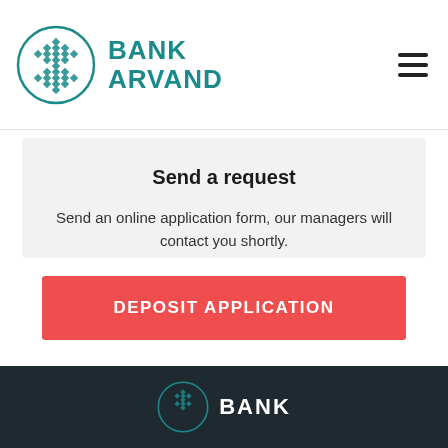[Figure (logo): Bank Arvand logo: circular teal diamond-pattern emblem with the text BANK ARVAND in teal to the right]
Send a request
Send an online application form, our managers will contact you shortly.
DEPOSIT APPLICATION
[Figure (logo): Bank Arvand logo (partial, white version) in dark teal footer with text BANK]